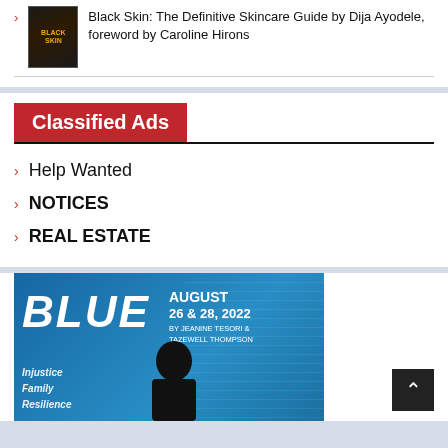Black Skin: The Definitive Skincare Guide by Dija Ayodele, foreword by Caroline Hirons
Classified Ads
Help Wanted
NOTICES
REAL ESTATE
[Figure (illustration): Advertisement for the musical BLUE, August 26 & 28, 2022, by Jeanine Tesori & Tazewell Thompson. Blue background with silhouette figure and text words: Injustice, Family, Resilience.]